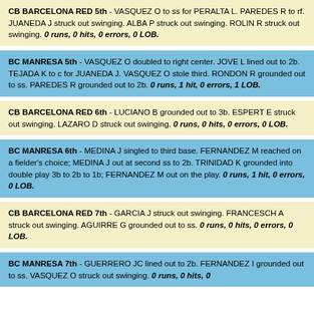CB BARCELONA RED 5th - VASQUEZ O to ss for PERALTA L. PAREDES R to rf. JUANEDA J struck out swinging. ALBA P struck out swinging. ROLIN R struck out swinging. 0 runs, 0 hits, 0 errors, 0 LOB.
BC MANRESA 5th - VASQUEZ O doubled to right center. JOVE L lined out to 2b. TEJADA K to c for JUANEDA J. VASQUEZ O stole third. RONDON R grounded out to ss. PAREDES R grounded out to 2b. 0 runs, 1 hit, 0 errors, 1 LOB.
CB BARCELONA RED 6th - LUCIANO B grounded out to 3b. ESPERT E struck out swinging. LAZARO D struck out swinging. 0 runs, 0 hits, 0 errors, 0 LOB.
BC MANRESA 6th - MEDINA J singled to third base. FERNANDEZ M reached on a fielder's choice; MEDINA J out at second ss to 2b. TRINIDAD K grounded into double play 3b to 2b to 1b; FERNANDEZ M out on the play. 0 runs, 1 hit, 0 errors, 0 LOB.
CB BARCELONA RED 7th - GARCIA J struck out swinging. FRANCESCH A struck out swinging. AGUIRRE G grounded out to ss. 0 runs, 0 hits, 0 errors, 0 LOB.
BC MANRESA 7th - GUERRERO JC lined out to 2b. FERNANDEZ I grounded out to ss. VASQUEZ O struck out swinging. 0 runs, 0 hits, 0...